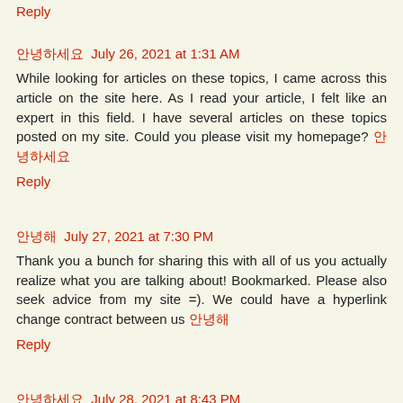Reply
안녕하세요  July 26, 2021 at 1:31 AM
While looking for articles on these topics, I came across this article on the site here. As I read your article, I felt like an expert in this field. I have several articles on these topics posted on my site. Could you please visit my homepage? 안녕하세요
Reply
안녕해  July 27, 2021 at 7:30 PM
Thank you a bunch for sharing this with all of us you actually realize what you are talking about! Bookmarked. Please also seek advice from my site =). We could have a hyperlink change contract between us 안녕해
Reply
안녕하세요  July 28, 2021 at 8:43 PM